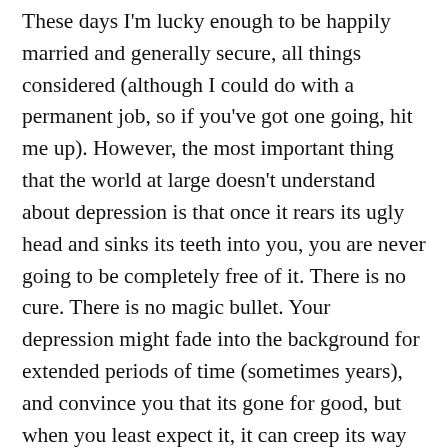These days I'm lucky enough to be happily married and generally secure, all things considered (although I could do with a permanent job, so if you've got one going, hit me up). However, the most important thing that the world at large doesn't understand about depression is that once it rears its ugly head and sinks its teeth into you, you are never going to be completely free of it. There is no cure. There is no magic bullet. Your depression might fade into the background for extended periods of time (sometimes years), and convince you that its gone for good, but when you least expect it, it can creep its way back into your life. At first it will play gentle mind games with you, but it gradually builds to the point where it consumes you and dominates your life. At least that's how it's played out for me. The closest I can come to explaining the internal